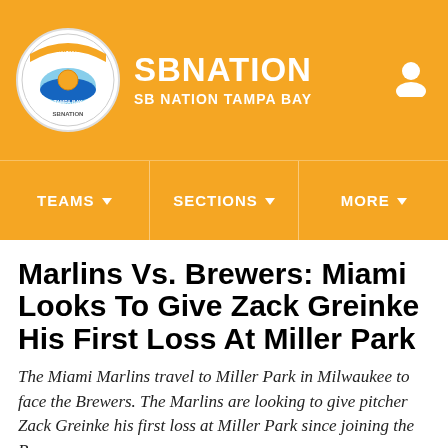SB NATION / SB NATION TAMPA BAY
TEAMS | SECTIONS | MORE
Marlins Vs. Brewers: Miami Looks To Give Zack Greinke His First Loss At Miller Park
The Miami Marlins travel to Miller Park in Milwaukee to face the Brewers. The Marlins are looking to give pitcher Zack Greinke his first loss at Miller Park since joining the Brewers.